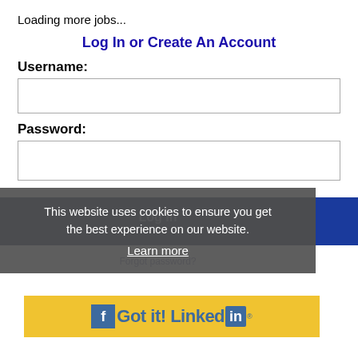Loading more jobs...
Log In or Create An Account
Username:
Password:
Log In
Forgot password?
This website uses cookies to ensure you get the best experience on our website.
Learn more
[Figure (screenshot): Got it! button with LinkedIn logo on yellow background]
Got it!